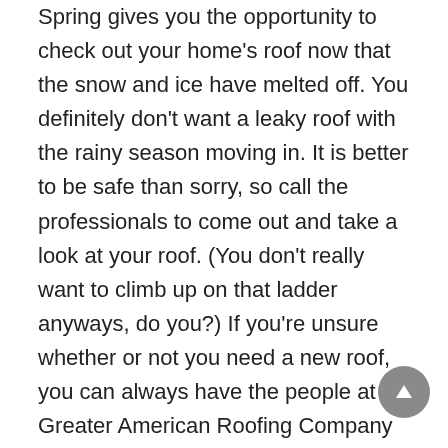Spring gives you the opportunity to check out your home's roof now that the snow and ice have melted off. You definitely don't want a leaky roof with the rainy season moving in. It is better to be safe than sorry, so call the professionals to come out and take a look at your roof. (You don't really want to climb up on that ladder anyways, do you?) If you're unsure whether or not you need a new roof, you can always have the people at Greater American Roofing Company come out for a roof inspection in Alpharetta, GA! They're going to be honest with you and let you know whether or not you really need a new roof on your house or just a few repairs. If you do end up needing to